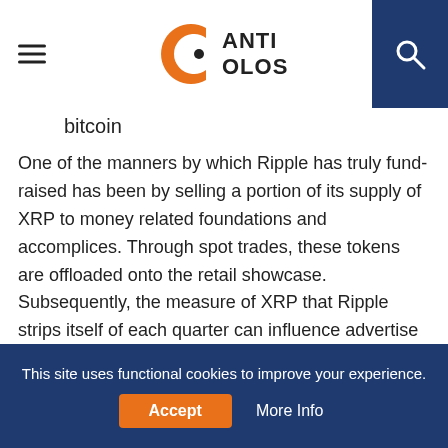Anticolos
bitcoin
One of the manners by which Ripple has truly fund-raised has been by selling a portion of its supply of XRP to money related foundations and accomplices. Through spot trades, these tokens are offloaded onto the retail showcase. Subsequently, the measure of XRP that Ripple strips itself of each quarter can influence advertise costs.
Notwithstanding, Ripple attempts to guarantee that XRP is sold OTC to its accomplices in a way that won't influence its current token holders. The organization goes to considerable lengths to downplay its XRP deals where conceivable. For example, in Q4 2019 it sold zero XRP.
This site uses functional cookies to improve your experience. Accept  More Info